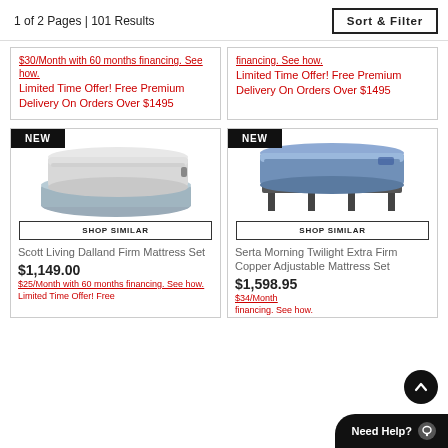1 of 2 Pages | 101 Results
Sort & Filter
$30/Month with 60 months financing. See how. Limited Time Offer! Free Premium Delivery On Orders Over $1495
financing. See how. Limited Time Offer! Free Premium Delivery On Orders Over $1495
[Figure (photo): NEW badge with Scott Living Dalland Firm Mattress Set product image]
SHOP SIMILAR
Scott Living Dalland Firm Mattress Set
$1,149.00
$25/Month with 60 months financing. See how. Limited Time Offer! Free
[Figure (photo): NEW badge with Serta Morning Twilight Extra Firm Copper Adjustable Mattress Set product image]
SHOP SIMILAR
Serta Morning Twilight Extra Firm Copper Adjustable Mattress Set
$1,598.95
$34/Month financing. See how.